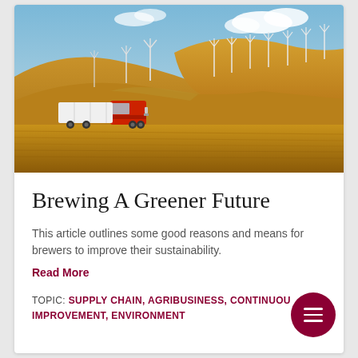[Figure (photo): A red semi-truck with white trailer driving through golden wheat fields with wind turbines on rolling hills in the background under a partly cloudy blue sky.]
Brewing A Greener Future
This article outlines some good reasons and means for brewers to improve their sustainability.
Read More
TOPIC: SUPPLY CHAIN, AGRIBUSINESS, CONTINUOUS IMPROVEMENT, ENVIRONMENT